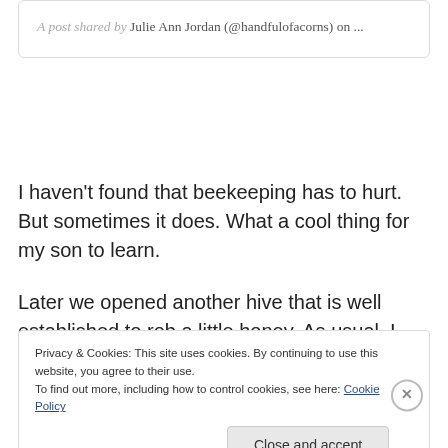A post shared by Julie Ann Jordan (@handfulofacorns) on ...
I haven't found that beekeeping has to hurt. But sometimes it does. What a cool thing for my son to learn.
Later we opened another hive that is well established to rob a little honey. As usual, I faced the hive alone, the
Privacy & Cookies: This site uses cookies. By continuing to use this website, you agree to their use.
To find out more, including how to control cookies, see here: Cookie Policy